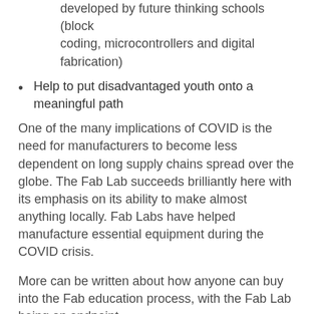Tap into the 21st C learning pathways being developed by future thinking schools (block coding, microcontrollers and digital fabrication)
Help to put disadvantaged youth onto a meaningful path
One of the many implications of COVID is the need for manufacturers to become less dependent on long supply chains spread over the globe. The Fab Lab succeeds brilliantly here with its emphasis on its ability to make almost anything locally. Fab Labs have helped manufacture essential equipment during the COVID crisis.
More can be written about how anyone can buy into the Fab education process, with the Fab Lab being an endpoint.
3) Some other selected information of interest
Location of Fab Labs in Australia: Melbourne, Ballarat, Adelaide, Sydney, Perth and Brisbane (source)
In 2014 the Mayor of Barcelona pushed a button to start a 40 year countdown to urban self sufficiency. The aim is that the